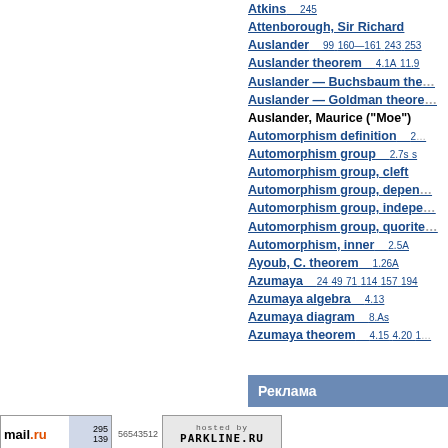Atkins    245
Attenborough, Sir Richard
Auslander    99 160–161 243 253
Auslander theorem    4.1A 11.9
Auslander — Buchsbaum the…
Auslander — Goldman theore…
Auslander, Maurice ("Moe")
Automorphism definition    2…
Automorphism group    2.7s s
Automorphism group, cleft
Automorphism group, depen…
Automorphism group, indepe…
Automorphism group, quorite…
Automorphism, inner    2.5A
Ayoub, C. theorem    1.26A
Azumaya    24 49 71 114 157 194
Azumaya algebra    4.13
Azumaya diagram    8.As
Azumaya theorem    4.15 4.20 1…
Реклама
mail.ru 295 56543512 139 | hosted by PARKLINE.RU